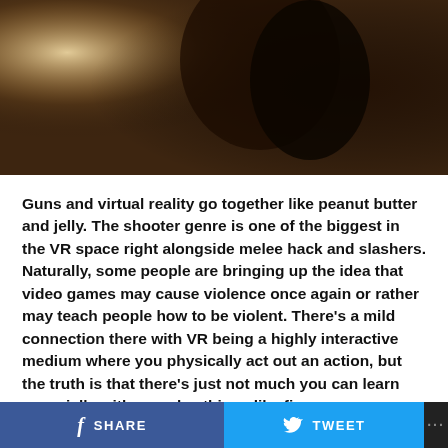[Figure (photo): Dark atmospheric photo, appears to show a person with dramatic lighting — warm light on left, dark shadows on right]
Guns and virtual reality go together like peanut butter and jelly. The shooter genre is one of the biggest in the VR space right alongside melee hack and slashers. Naturally, some people are bringing up the idea that video games may cause violence once again or rather may teach people how to be violent. There's a mild connection there with VR being a highly interactive medium where you physically act out an action, but the truth is that there's just not much you can learn especially with complex things like firearms.
It's important to note that VR can only teach people to use firearms only as effectively as any other learning medium like
f SHARE   [Twitter bird] TWEET   ...